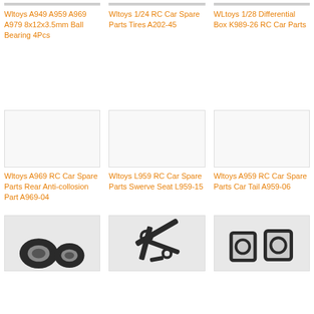[Figure (photo): Partially visible product image at top (cut off) - row 1 col 1]
Wltoys A949 A959 A969 A979 8x12x3.5mm Ball Bearing 4Pcs
[Figure (photo): Partially visible product image at top (cut off) - row 1 col 2]
Wltoys 1/24 RC Car Spare Parts Tires A202-45
[Figure (photo): Partially visible product image at top (cut off) - row 1 col 3]
WLtoys 1/28 Differential Box K989-26 RC Car Parts
[Figure (photo): White/blank product image - row 2 col 1]
Wltoys A969 RC Car Spare Parts Rear Anti-collosion Part A969-04
[Figure (photo): White/blank product image - row 2 col 2]
Wltoys L959 RC Car Spare Parts Swerve Seat L959-15
[Figure (photo): White/blank product image - row 2 col 3]
Wltoys A959 RC Car Spare Parts Car Tail A959-06
[Figure (photo): RC car tires/wheels product image - row 3 col 1]
[Figure (photo): RC car suspension/arms product image - row 3 col 2]
[Figure (photo): RC car parts product image - row 3 col 3]